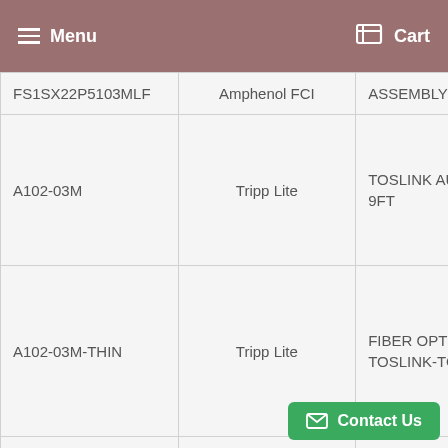Menu   Cart
| FS1SX22P5103MLF | Amphenol FCI | ASSEMBLY |
| A102-03M | Tripp Lite | TOSLINK AUDIO CABLE 9FT |
| A102-03M-THIN | Tripp Lite | FIBER OPTIC CBL TOSLINK-TOSLINK |
| A104- | Tripp | FIBER OPTIC TOSLINK |